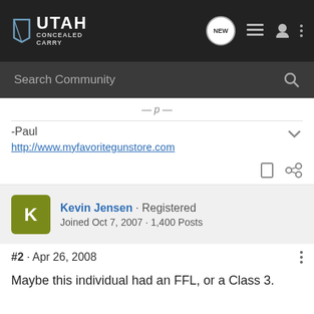UTAH CONCEALED CARRY
Search Community
-Paul
http://www.myfavoritegunstore.com
Kevin Jensen · Registered
Joined Oct 7, 2007 · 1,400 Posts
#2 · Apr 26, 2008
Maybe this individual had an FFL, or a Class 3.